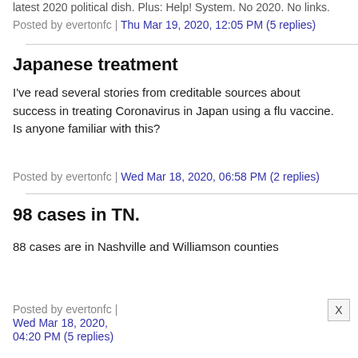Posted by evertonfc | Thu Mar 19, 2020, 12:05 PM (5 replies)
Japanese treatment
I've read several stories from creditable sources about success in treating Coronavirus in Japan using a flu vaccine. Is anyone familiar with this?
Posted by evertonfc | Wed Mar 18, 2020, 06:58 PM (2 replies)
98 cases in TN.
88 cases are in Nashville and Williamson counties
Posted by evertonfc | Wed Mar 18, 2020, 04:20 PM (5 replies)